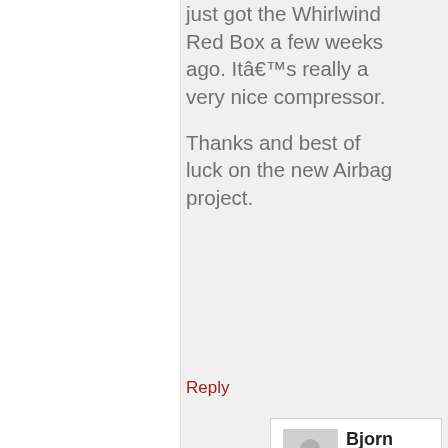just got the Whirlwind Red Box a few weeks ago. Itâ€™s really a very nice compressor.

Thanks and best of luck on the new Airbag project.
Reply
Bjorn says:
July 12, 2015 at 12:38 pm
Hi Marcell,